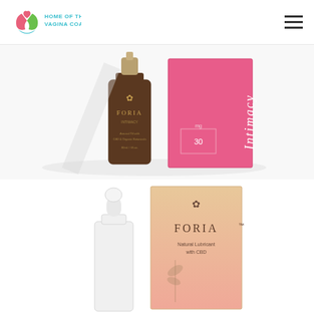[Figure (logo): Home of the Vagina Coach logo with pink and green stylized figure and teal text]
[Figure (photo): Foria Intimacy CBD oil product - dark amber dropper bottle next to pink box labeled Intimacy]
[Figure (photo): Foria Natural Lubricant with CBD - white dropper bottle next to tan/beige box with cannabis leaf design]